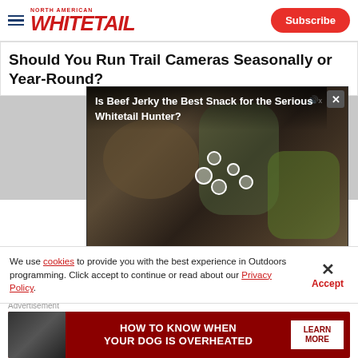North American Whitetail — Subscribe
Should You Run Trail Cameras Seasonally or Year-Round?
[Figure (screenshot): Video popup overlay showing 'Is Beef Jerky the Best Snack for the Serious Whitetail Hunter?' with video thumbnail of hunter gear, video controls showing 00:00 / 04:18]
[Figure (screenshot): Gray placeholder area with play button overlay]
We use cookies to provide you with the best experience in Outdoors programming. Click accept to continue or read about our Privacy Policy.
Advertisement
[Figure (infographic): Advertisement banner: HOW TO KNOW WHEN YOUR DOG IS OVERHEATED — LEARN MORE]